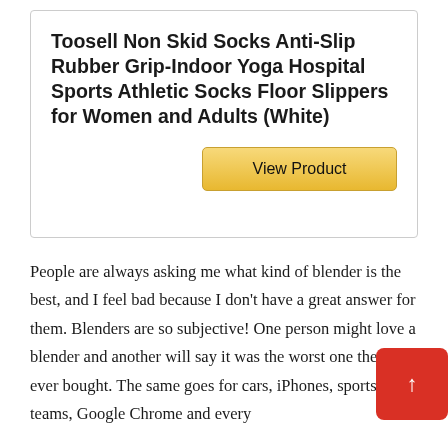Toosell Non Skid Socks Anti-Slip Rubber Grip-Indoor Yoga Hospital Sports Athletic Socks Floor Slippers for Women and Adults (White)
View Product
People are always asking me what kind of blender is the best, and I feel bad because I don't have a great answer for them. Blenders are so subjective! One person might love a blender and another will say it was the worst one they ever bought. The same goes for cars, iPhones, sports teams, Google Chrome and every